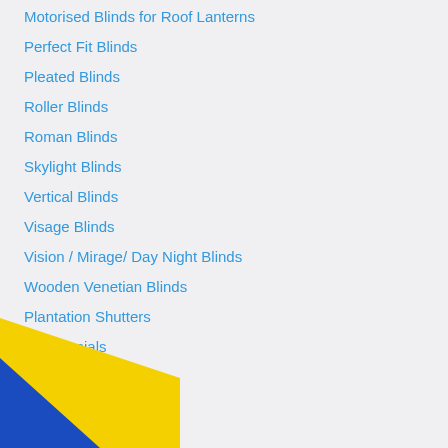Motorised Blinds for Roof Lanterns
Perfect Fit Blinds
Pleated Blinds
Roller Blinds
Roman Blinds
Skylight Blinds
Vertical Blinds
Visage Blinds
Vision / Mirage/ Day Night Blinds
Wooden Venetian Blinds
Plantation Shutters
Testimonials
Commercial
Get a price